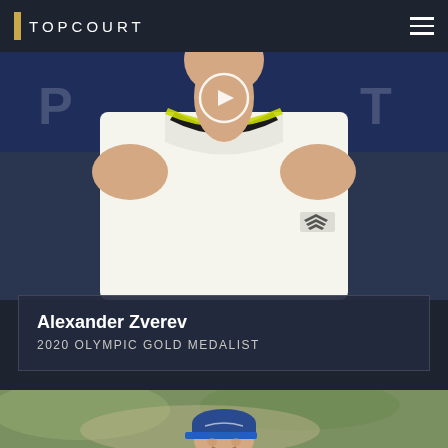TOPCOURT
[Figure (photo): Close-up photo of Alexander Zverev in a white Adidas tennis sleeveless shirt with black and yellow collar trim, photographed against a dark blue sponsor board background. A circular play button overlay is visible at the top center.]
Alexander Zverev
2020 OLYMPIC GOLD MEDALIST
[Figure (photo): Photo of a tennis player wearing a navy blue Asics cap, smiling, photographed outdoors against a blurred green and brown background.]